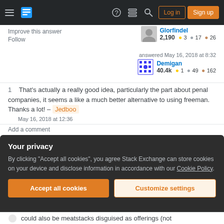Stack Exchange navigation bar with hamburger menu, logo, help, chat, search icons, Log in and Sign up buttons
Improve this answer
Follow
Glorfindel 2,190 ● 3 ● 17 ● 26
answered May 16, 2018 at 8:32
Demigan 40.4k ● 1 ● 49 ● 162
1  That's actually a really good idea, particularly the part about penal companies, it seems a like a much better alternative to using freeman. Thanks a lot! – Jedboo  May 16, 2018 at 12:36
Add a comment
Your privacy
By clicking "Accept all cookies", you agree Stack Exchange can store cookies on your device and disclose information in accordance with our Cookie Policy.
Accept all cookies
Customize settings
could also be meatstacks disguised as offerings (not